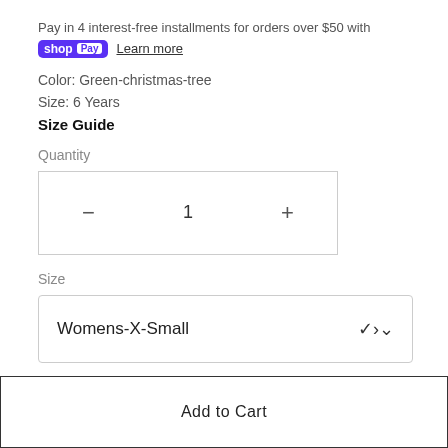Pay in 4 interest-free installments for orders over $50 with shop Pay Learn more
Color: Green-christmas-tree
Size: 6 Years
Size Guide
Quantity
1
Size
Womens-X-Small
Add to Cart